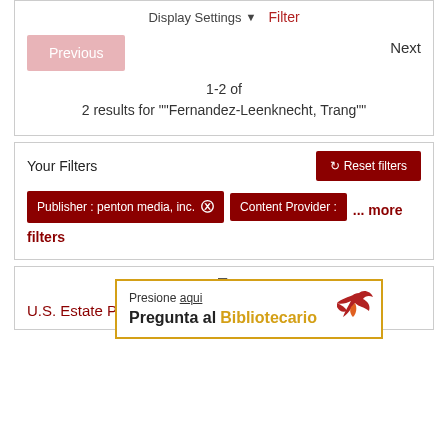Display Settings ▼   Filter
Previous   Next
1-2 of
2 results for ""Fernandez-Leenknecht, Trang""
Your Filters
Reset filters
Publisher : penton media, inc. ✕
Content Provider :
... more filters
[Figure (screenshot): File icon at top of result card]
U.S. Estate Plan... Part 2.
Presione aqui
Pregunta al Bibliotecario